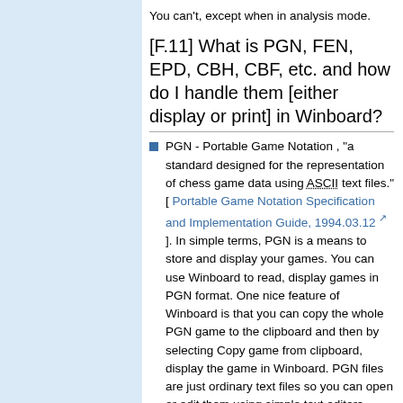You can't, except when in analysis mode.
[F.11] What is PGN, FEN, EPD, CBH, CBF, etc. and how do I handle them [either display or print] in Winboard?
PGN - Portable Game Notation , "a standard designed for the representation of chess game data using ASCII text files." [ Portable Game Notation Specification and Implementation Guide, 1994.03.12 ]. In simple terms, PGN is a means to store and display your games. You can use Winboard to read, display games in PGN format. One nice feature of Winboard is that you can copy the whole PGN game to the clipboard and then by selecting Copy game from clipboard, display the game in Winboard. PGN files are just ordinary text files so you can open or edit them using simple text editors. Combining two PGN files also only requires a simple copy command.
FEN - Forsyth-Edwards Notation - A